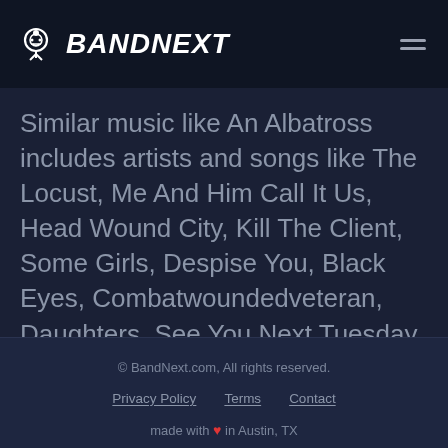BANDNEXT
Similar music like An Albatross includes artists and songs like The Locust, Me And Him Call It Us, Head Wound City, Kill The Client, Some Girls, Despise You, Black Eyes, Combatwoundedveteran, Daughters, See You Next Tuesday, Heavy Heavy Low Low, Ed Gein, Graf Orlock, Genghis Tron, Full Of Hell, Today Is The Day,
© BandNext.com, All rights reserved. | Privacy Policy | Terms | Contact | made with ❤ in Austin, TX